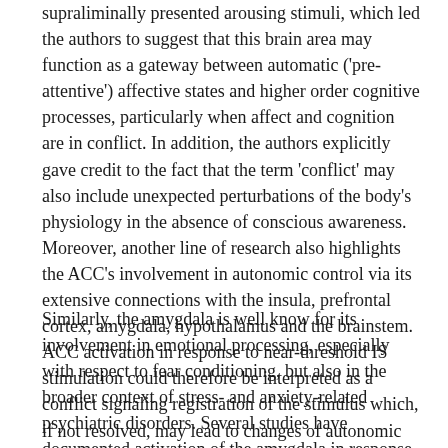supraliminally presented arousing stimuli, which led the authors to suggest that this brain area may function as a gateway between automatic ('pre-attentive') affective states and higher order cognitive processes, particularly when affect and cognition are in conflict. In addition, the authors explicitly gave credit to the fact that the term 'conflict' may also include unexpected perturbations of the body's physiology in the absence of conscious awareness. Moreover, another line of research also highlights the ACC's involvement in autonomic control via its extensive connections with the insula, prefrontal cortex, amygdala, hypothalamus and the brainstem. ACC activation in response to near-threshold IS stimulation could therefore be interpreted as a conflict signaling registration of the stimulus which, if not resolved, may lead to changes of autonomic function.
Similarly, the amygdala is well know for its involvement in emotional processing, especially with respect to fear conditioning, but also in the broader context of stress- and anxiety-related psychiatric disorders. Several studies have documented activation of the amygdala in response